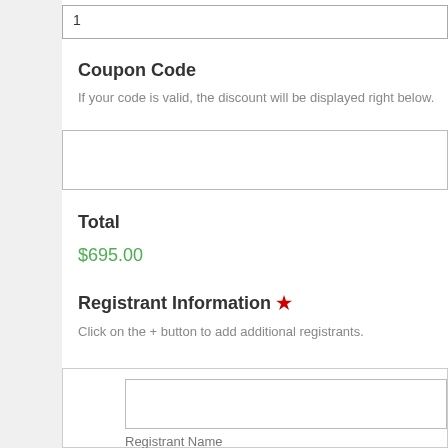1
Coupon Code
If your code is valid, the discount will be displayed right below.
Total
$695.00
Registrant Information *
Click on the + button to add additional registrants.
Registrant Name
Registrant Email